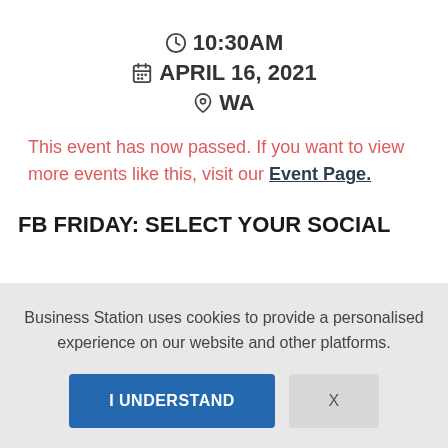🕐 10:30AM
📅 APRIL 16, 2021
📍 WA
This event has now passed. If you want to view more events like this, visit our Event Page.
FB FRIDAY: SELECT YOUR SOCIAL
Business Station uses cookies to provide a personalised experience on our website and other platforms.
I UNDERSTAND
X